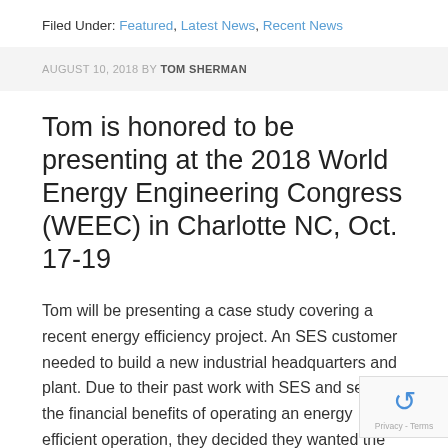Filed Under: Featured, Latest News, Recent News
AUGUST 10, 2018 BY TOM SHERMAN
Tom is honored to be presenting at the 2018 World Energy Engineering Congress (WEEC) in Charlotte NC, Oct. 17-19
Tom will be presenting a case study covering a recent energy efficiency project.  An SES customer needed to build a new industrial headquarters and plant. Due to their past work with SES and seeing the financial benefits of operating an energy efficient operation, they decided they wanted the new building to be ve...